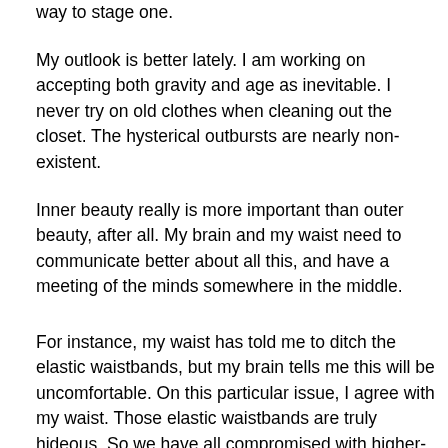way to stage one.
My outlook is better lately. I am working on accepting both gravity and age as inevitable. I never try on old clothes when cleaning out the closet. The hysterical outbursts are nearly non-existent.
Inner beauty really is more important than outer beauty, after all. My brain and my waist need to communicate better about all this, and have a meeting of the minds somewhere in the middle.
For instance, my waist has told me to ditch the elastic waistbands, but my brain tells me this will be uncomfortable. On this particular issue, I agree with my waist. Those elastic waistbands are truly hideous. So we have all compromised with higher-waisted pants that do not look ridiculous, thereby avoiding the elastic option.